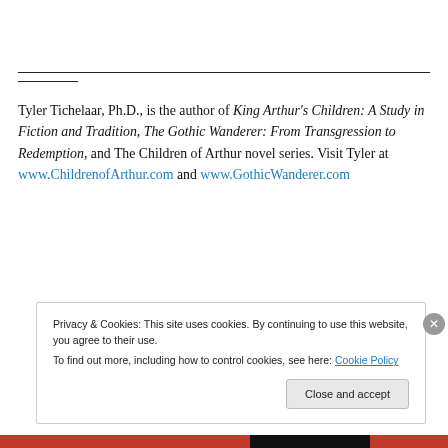Tyler Tichelaar, Ph.D., is the author of King Arthur's Children: A Study in Fiction and Tradition, The Gothic Wanderer: From Transgression to Redemption, and The Children of Arthur novel series. Visit Tyler at www.ChildrenofArthur.com and www.GothicWanderer.com
Privacy & Cookies: This site uses cookies. By continuing to use this website, you agree to their use. To find out more, including how to control cookies, see here: Cookie Policy